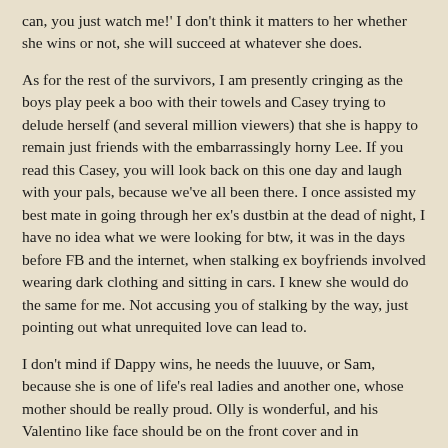can, you just watch me!'  I don't think it matters to her whether she wins or not, she will succeed at whatever she does.
As for the rest of the survivors, I am presently cringing as the boys play peek a boo with their towels and Casey trying to delude herself (and several million viewers) that she is happy to remain just friends with the embarrassingly horny Lee.  If you read this Casey, you will look back on this one day and laugh with your pals, because we've all been there.  I once assisted my best mate in going through her ex's dustbin at the dead of night, I have no idea what we were looking for btw, it was in the days before FB and the internet, when stalking ex boyfriends involved wearing dark clothing and sitting in cars. I knew she would do the same for me.  Not accusing you of stalking by the way, just pointing out what unrequited love can lead to.
I don't mind if Dappy wins, he needs the luuuve, or Sam, because she is one of life's real ladies and another one, whose mother should be really proud. Olly is wonderful, and his Valentino like face should be on the front cover and in